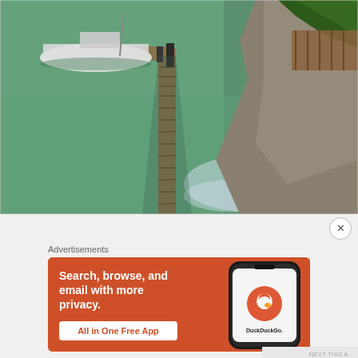[Figure (photo): Aerial view of a wooden dock/pier extending into calm green water. A white sailboat is moored on the left side. Rocky shoreline with trees and a wooden deck structure visible on the right side.]
Advertisements
[Figure (infographic): DuckDuckGo advertisement banner with orange background. Text reads 'Search, browse, and email with more privacy. All in One Free App'. Shows a smartphone with DuckDuckGo logo and branding.]